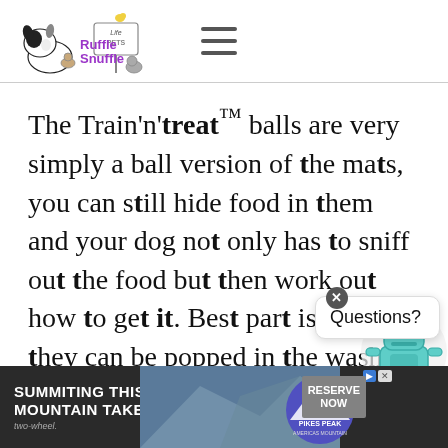[Figure (logo): Ruffle Snuffle logo with French bulldog and small animals, 'Life Pets' sign illustration, and hamburger menu icon]
The Train'n'treat™ balls are very simply a ball version of the mats, you can still hide food in them and your dog not only has to sniff out the food but then work out how to get it. Best part is that they can be popped in the washing machine so they do up horrible and smelly.
[Figure (other): Chat widget popup with close X button showing 'Questions?' text and a teal robot mascot icon]
[Figure (other): Advertisement banner: 'SUMMITING THIS MOUNTAIN TAKES DRIVE.' with mountain photo background, Pikes Peak badge, and Reserve Now button]